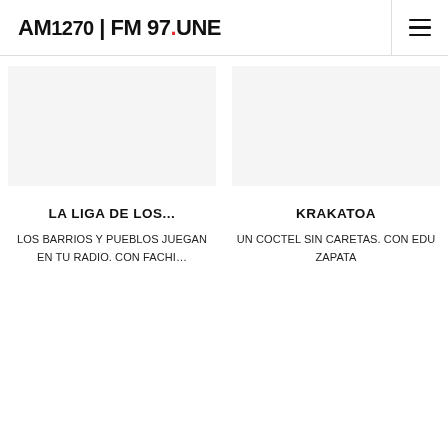AM 1270 | FM 97.UNE
LA LIGA DE LOS...
LOS BARRIOS Y PUEBLOS JUEGAN EN TU RADIO. con Fachi…
KRAKATOA
UN COCTEL SIN CARETAS. con Edu zapata